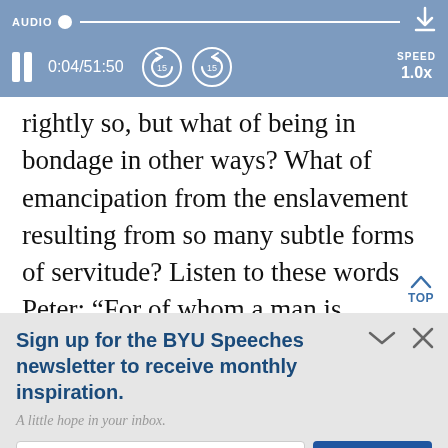AUDIO  0:04/51:50  SPEED 1.0x
rightly so, but what of being in bondage in other ways? What of emancipation from the enslavement resulting from so many subtle forms of servitude? Listen to these words Peter: “For of whom a man is overcome, o…
Sign up for the BYU Speeches newsletter to receive monthly inspiration.
A little hope in your inbox.
Enter your email
SUBSCRIBE